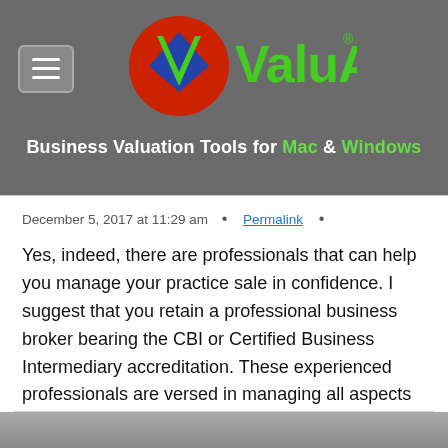[Figure (logo): ValuAdder logo with red circle, green V and text 'ValuAdder' in green with registered trademark symbol]
Business Valuation Tools for Mac & Windows
December 5, 2017 at 11:29 am • Permalink •
Yes, indeed, there are professionals that can help you manage your practice sale in confidence. I suggest that you retain a professional business broker bearing the CBI or Certified Business Intermediary accreditation. These experienced professionals are versed in managing all aspects of a private business sale.